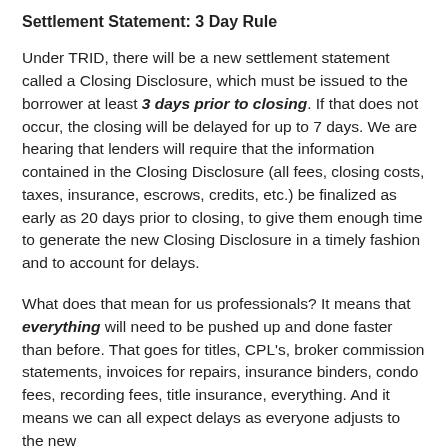Settlement Statement: 3 Day Rule
Under TRID, there will be a new settlement statement called a Closing Disclosure, which must be issued to the borrower at least 3 days prior to closing. If that does not occur, the closing will be delayed for up to 7 days. We are hearing that lenders will require that the information contained in the Closing Disclosure (all fees, closing costs, taxes, insurance, escrows, credits, etc.) be finalized as early as 20 days prior to closing, to give them enough time to generate the new Closing Disclosure in a timely fashion and to account for delays.
What does that mean for us professionals? It means that everything will need to be pushed up and done faster than before. That goes for titles, CPL's, broker commission statements, invoices for repairs, insurance binders, condo fees, recording fees, title insurance, everything. And it means we can all expect delays as everyone adjusts to the new